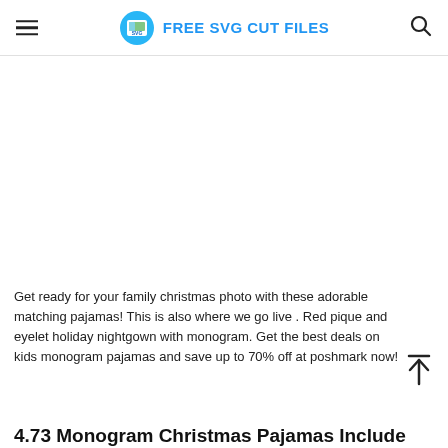FREE SVG CUT FILES
Get ready for your family christmas photo with these adorable matching pajamas! This is also where we go live . Red pique and eyelet holiday nightgown with monogram. Get the best deals on kids monogram pajamas and save up to 70% off at poshmark now!
4.73 Monogram Christmas Pajamas Include